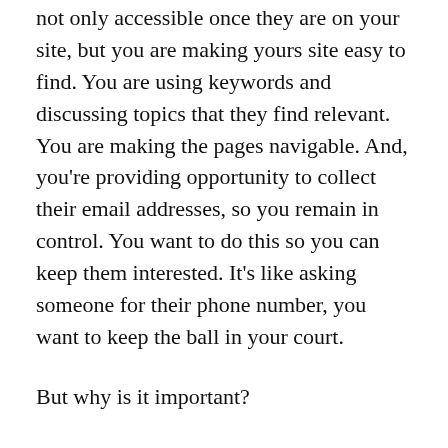not only accessible once they are on your site, but you are making yours site easy to find. You are using keywords and discussing topics that they find relevant. You are making the pages navigable. And, you're providing opportunity to collect their email addresses, so you remain in control. You want to do this so you can keep them interested. It's like asking someone for their phone number, you want to keep the ball in your court.
But why is it important?
At the heart of every business, there should be at least one important fundamental understanding: You've got to make money. Not just to have the right product or to have great...